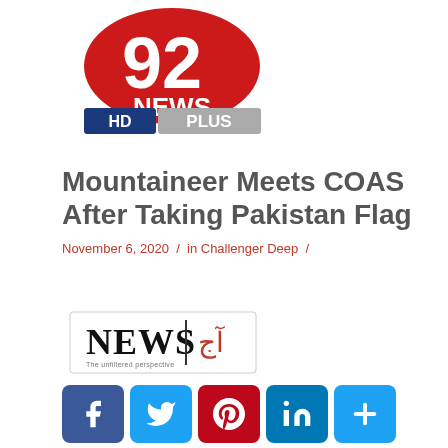[Figure (logo): 92 News HD Plus logo — red circle with '92' and 'NEWS' text, blue HD PLUS bar]
Mountaineer Meets COAS After Taking Pakistan Flag
November 6, 2020 / in Challenger Deep /
[Figure (logo): NEWS Aaj Ki Awaz logo — black NEWS text with Urdu script in red]
[Figure (infographic): Social media share buttons: Facebook, Twitter, Pinterest, LinkedIn, More]